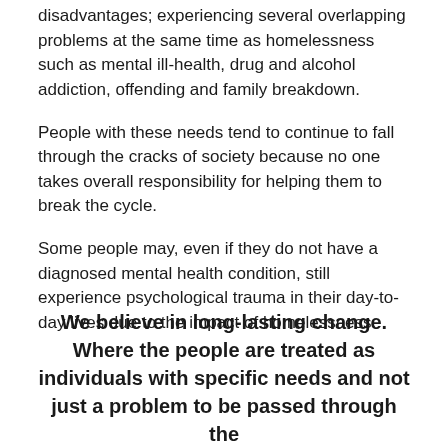disadvantages; experiencing several overlapping problems at the same time as homelessness such as mental ill-health, drug and alcohol addiction, offending and family breakdown.
People with these needs tend to continue to fall through the cracks of society because no one takes overall responsibility for helping them to break the cycle.
Some people may, even if they do not have a diagnosed mental health condition, still experience psychological trauma in their day-to-day lives due to the impact of homelessness.
We believe in long-lasting change. Where the people are treated as individuals with specific needs and not just a problem to be passed through the